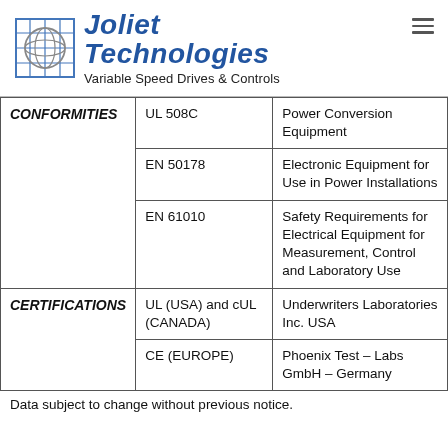[Figure (logo): Joliet Technologies logo with grid/globe icon and italic blue brand name, tagline: Variable Speed Drives & Controls]
|  |  |  |
| --- | --- | --- |
| CONFORMITIES | UL 508C | Power Conversion Equipment |
|  | EN 50178 | Electronic Equipment for Use in Power Installations |
|  | EN 61010 | Safety Requirements for Electrical Equipment for Measurement, Control and Laboratory Use |
| CERTIFICATIONS | UL (USA) and cUL (CANADA) | Underwriters Laboratories Inc. USA |
|  | CE (EUROPE) | Phoenix Test – Labs GmbH – Germany |
Data subject to change without previous notice.